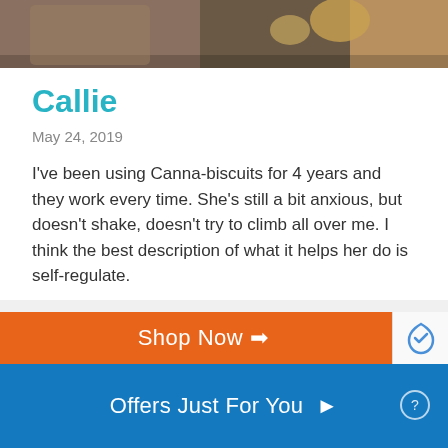[Figure (photo): Partial photo of a dog or pet with some objects, cropped at top of page]
Callie
May 24, 2019
I've been using Canna-biscuits for 4 years and they work every time. She's still a bit anxious, but doesn't shake, doesn't try to climb all over me. I think the best description of what it helps her do is self-regulate.
Read More →
[Figure (screenshot): Orange 'Shop Now →' button with partial reCAPTCHA widget visible on the right]
Offers Just For You ▶